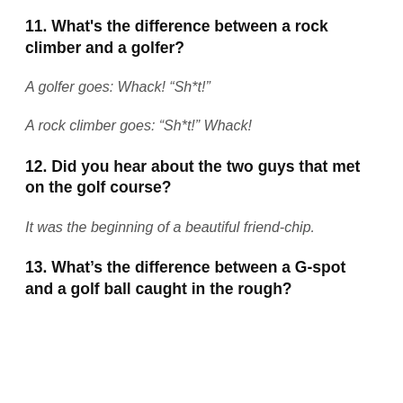11.  What's the difference between a rock climber and a golfer?
A golfer goes: Whack! “Sh*t!”
A rock climber goes: “Sh*t!” Whack!
12. Did you hear about the two guys that met on the golf course?
It was the beginning of a beautiful friend-chip.
13. What’s the difference between a G-spot and a golf ball caught in the rough?